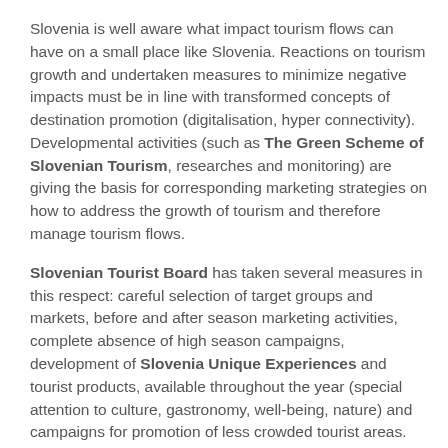Slovenia is well aware what impact tourism flows can have on a small place like Slovenia. Reactions on tourism growth and undertaken measures to minimize negative impacts must be in line with transformed concepts of destination promotion (digitalisation, hyper connectivity). Developmental activities (such as The Green Scheme of Slovenian Tourism, researches and monitoring) are giving the basis for corresponding marketing strategies on how to address the growth of tourism and therefore manage tourism flows.
Slovenian Tourist Board has taken several measures in this respect: careful selection of target groups and markets, before and after season marketing activities, complete absence of high season campaigns, development of Slovenia Unique Experiences and tourist products, available throughout the year (special attention to culture, gastronomy, well-being, nature) and campaigns for promotion of less crowded tourist areas.